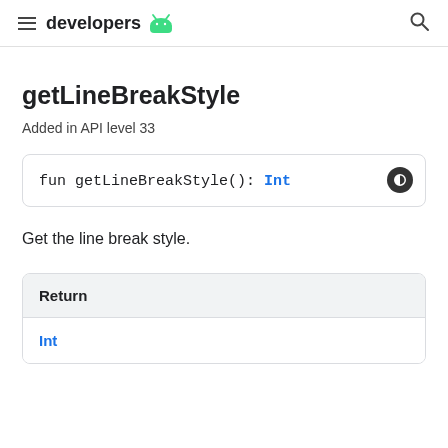developers
getLineBreakStyle
Added in API level 33
Get the line break style.
| Return |
| --- |
| Int |